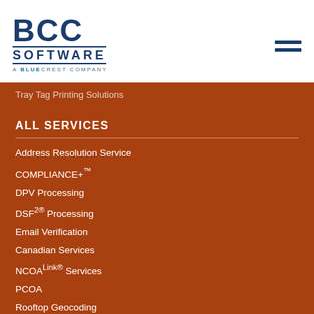[Figure (logo): BCC Software - A BlueCrest Company logo in dark navy blue]
Tray Tag Printing Solutions
ALL SERVICES
Address Resolution Service
COMPLIANCE+™
DPV Processing
DSF2® Processing
Email Verification
Canadian Services
NCOALink® Services
PCOA
Rooftop Geocoding
Suppression Services